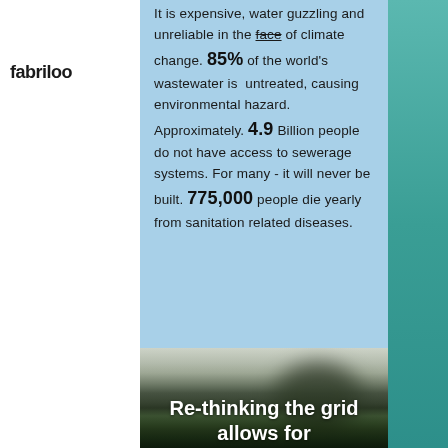fabriloo
It is expensive, water guzzling and unreliable in the face of climate change. 85% of the world's wastewater is untreated, causing environmental hazard. Approximately. 4.9 Billion people do not have access to sewerage systems. For many - it will never be built. 775,000 people die yearly from sanitation related diseases.
[Figure (photo): Blurred outdoor/nature scene with dark silhouette shapes, serving as background for overlaid text]
Re-thinking the grid allows for